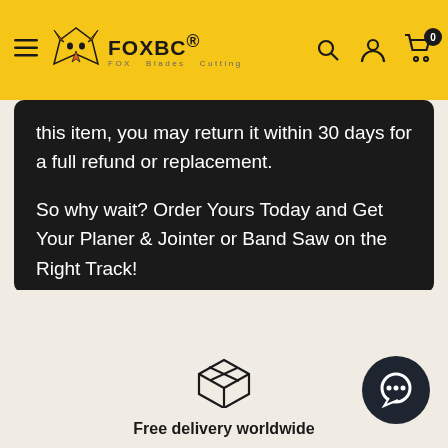FOXBC® — FOX Blades Cutting
this item, you may return it within 30 days for a full refund or replacement.
So why wait? Order Yours Today and Get Your Planer & Jointer or Band Saw on the Right Track!
Learn more
[Figure (illustration): Package/box delivery icon outline]
Free delivery worldwide
[Figure (illustration): Dark circular chat bubble widget icon]